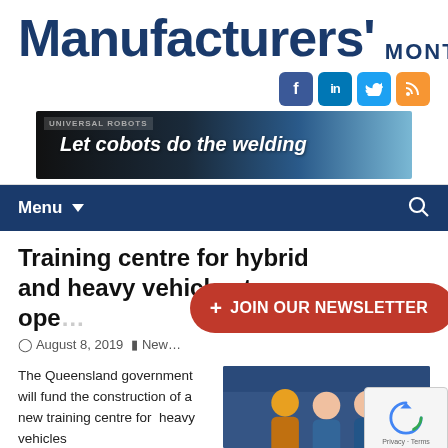Manufacturers' MONTHLY
[Figure (logo): Social media icons: Facebook, LinkedIn, Twitter, RSS]
[Figure (screenshot): Banner advertisement: Let cobots do the welding]
Menu
Training centre for hybrid and heavy vehicles to ope...
August 8, 2019  New...
+ JOIN OUR NEWSLETTER
The Queensland government will fund the construction of a new training centre for  heavy vehicles
[Figure (photo): Photo of people in a workshop/training facility with tafe logo]